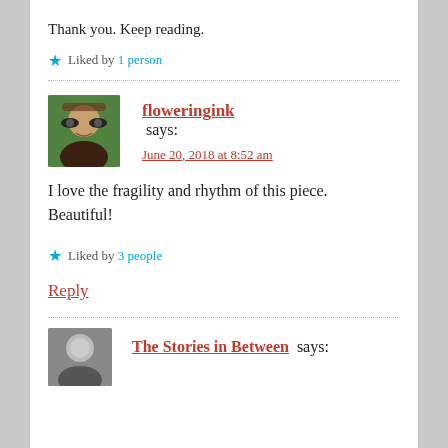Thank you. Keep reading.
Liked by 1 person
floweringink says:
June 20, 2018 at 8:52 am
I love the fragility and rhythm of this piece. Beautiful!
Liked by 3 people
Reply
The Stories in Between says: